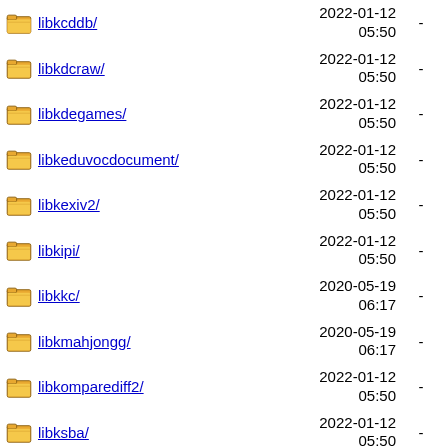libkcddb/ 2022-01-12 05:50 -
libkdcraw/ 2022-01-12 05:50 -
libkdegames/ 2022-01-12 05:50 -
libkeduvocdocument/ 2022-01-12 05:50 -
libkexiv2/ 2022-01-12 05:50 -
libkipi/ 2022-01-12 05:50 -
libkkc/ 2020-05-19 06:17 -
libkmahjongg/ 2020-05-19 06:17 -
libkomparediff2/ 2022-01-12 05:50 -
libksba/ 2022-01-12 05:50 -
libkscreen/ 2022-01-12 05:50 -